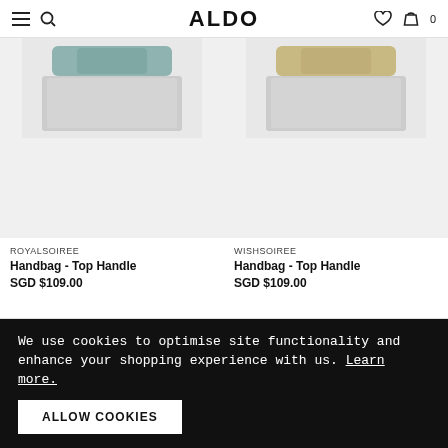ALDO
[Figure (photo): ROYALSOIREE handbag top handle product image with teal/blue color, cropped view showing top of bag]
[Figure (photo): WISHSOIREE handbag top handle product image with gold/khaki color, cropped view showing top of bag]
ROYALSOIREE
Handbag - Top Handle
SGD $109.00
WISHSOIREE
Handbag - Top Handle
SGD $109.00
Ratings & Reviews
Write a Review
We use cookies to optimise site functionality and enhance your shopping experience with us. Learn more.
ALLOW COOKIES